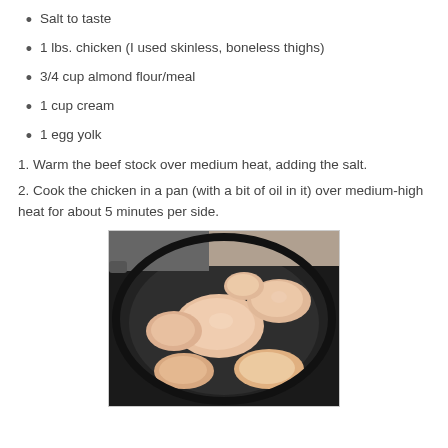Salt to taste
1 lbs. chicken (I used skinless, boneless thighs)
3/4 cup almond flour/meal
1 cup cream
1 egg yolk
1. Warm the beef stock over medium heat, adding the salt.
2. Cook the chicken in a pan (with a bit of oil in it) over medium-high heat for about 5 minutes per side.
[Figure (photo): Chicken thighs cooking in a cast iron skillet, viewed from above. Several pieces of raw/cooking chicken pieces visible in the dark pan.]